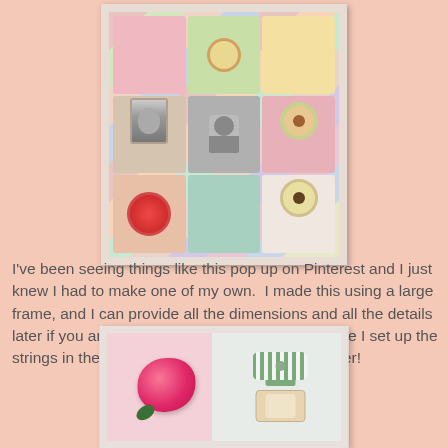[Figure (photo): A decorative white picture frame filled with colorful scrapbook-style embellishments, fabric flowers, circular die-cuts, black and white photos of a child and baby, hanging from strings inside the frame. The frame is white/cream colored.]
I've been seeing things like this pop up on Pinterest and I just knew I had to make one of my own.  I made this using a large frame, and I can provide all the dimensions and all the details later if you are interested...just let me know!  Once I set up the strings in the back, it was real easy to put together!
[Figure (photo): Close-up photo of a decorative white frame showing a large pink fabric rose flower on the left and a striped green and white ribbon bow on the right, with patterned scrapbook paper background.]